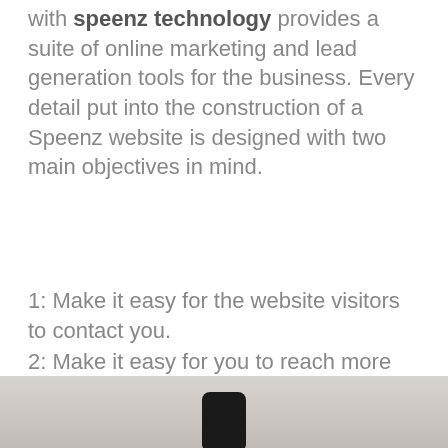with speenz technology provides a suite of online marketing and lead generation tools for the business. Every detail put into the construction of a Speenz website is designed with two main objectives in mind.
1: Make it easy for the website visitors to contact you.
2: Make it easy for you to reach more customers on the devices they use the most, their cell phone.
[Figure (photo): Bottom portion of a photo showing a cell phone being held, blurred background]